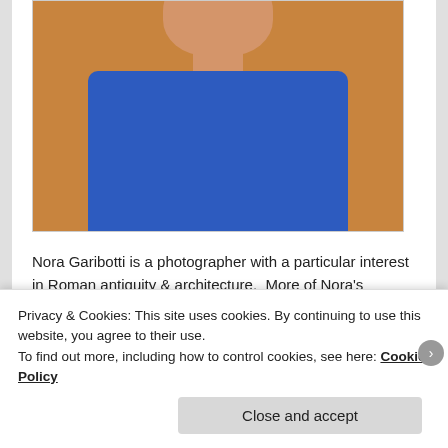[Figure (photo): Photo of Nora Garibotti, a woman wearing a blue sleeveless top, partially cropped portrait]
Nora Garibotti is a photographer with a particular interest in Roman antiquity & architecture.  More of Nora's photography can be viewed on her website: Garibotti Photography.
Advertisements
Privacy & Cookies: This site uses cookies. By continuing to use this website, you agree to their use.
To find out more, including how to control cookies, see here: Cookie Policy
Close and accept